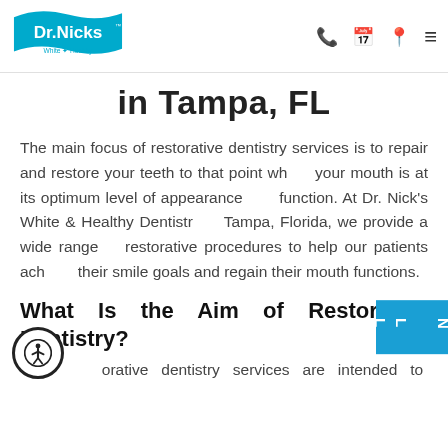Dr. Nick's White & Healthy
in Tampa, FL
The main focus of restorative dentistry services is to repair and restore your teeth to that point where your mouth is at its optimum level of appearance and function. At Dr. Nick's White & Healthy Dentistry in Tampa, Florida, we provide a wide range of restorative procedures to help our patients achieve their smile goals and regain their mouth functions.
What Is the Aim of Restorative Dentistry?
Restorative dentistry services are intended to